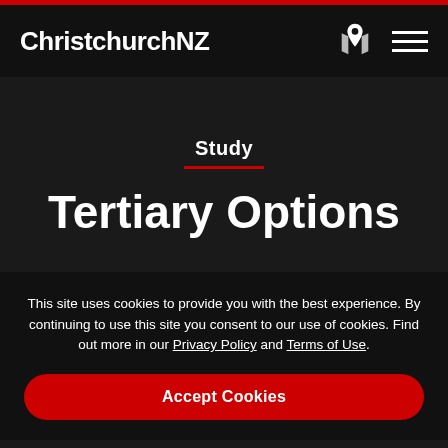ChristchurchNZ
Study
Tertiary Options
This site uses cookies to provide you with the best experience. By continuing to use this site you consent to our use of cookies. Find out more in our Privacy Policy and Terms of Use.
Accept Cookies